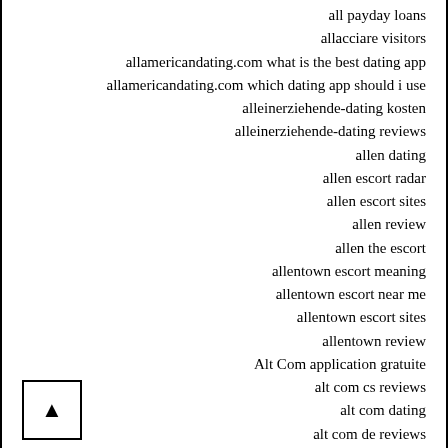all payday loans
allacciare visitors
allamericandating.com what is the best dating app
allamericandating.com which dating app should i use
alleinerziehende-dating kosten
alleinerziehende-dating reviews
allen dating
allen escort radar
allen escort sites
allen review
allen the escort
allentown escort meaning
allentown escort near me
allentown escort sites
allentown review
Alt Com application gratuite
alt com cs reviews
alt com dating
alt com de reviews
Alt Com en ligne
Alt Com hookup site
alt com pl reviews
alt com rese?as
alt com review
alt review
alt sign in
alt visitors